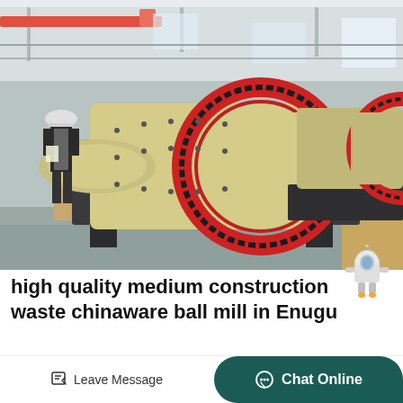[Figure (photo): Industrial ball mills in a factory/warehouse setting. Large yellow cylindrical ball mills with red gear rings and dark gray metal frames are visible. A worker in a hard hat and dark vest stands on the left side. Multiple ball mills are lined up in the background inside a large industrial building with overhead cranes.]
high quality medium construction waste chinaware ball mill in Enugu
Toulouse France Europe high end new iron ore belt conveyor sell it
Leave Message
Chat Online